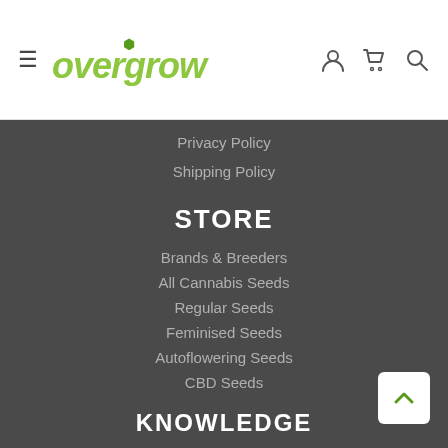[Figure (logo): Overgrow logo with green leaf above the 'o' in 'overgrow', styled in yellow-green italic bold font, with hamburger menu icon on the left and user/cart/search icons on the right]
Privacy Policy
Shipping Policy
STORE
Brands & Breeders
All Cannabis Seeds
Regular Seeds
Feminised Seeds
Autoflowering Seeds
CBD Seeds
KNOWLEDGE